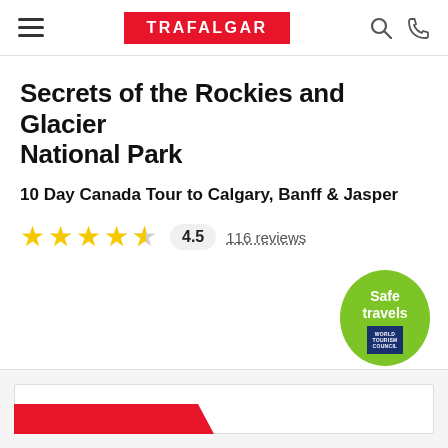TRAFALGAR
Secrets of the Rockies and Glacier National Park
10 Day Canada Tour to Calgary, Banff & Jasper
4.5  116 reviews
[Figure (logo): Safe travels badge - green circle with 'Safe travels' text and World Tourism Council logo]